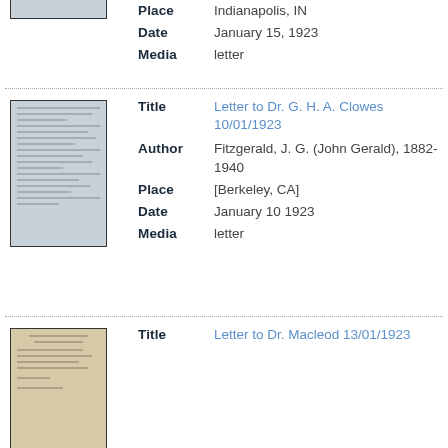Place: Indianapolis, IN
Date: January 15, 1923
Media: letter
[Figure (photo): Thumbnail image of a typed letter document, gray-blue background]
Title: Letter to Dr. G. H. A. Clowes 10/01/1923
Author: Fitzgerald, J. G. (John Gerald), 1882-1940
Place: [Berkeley, CA]
Date: January 10 1923
Media: letter
[Figure (photo): Thumbnail image of a typed letter document, beige/cream background]
Title: Letter to Dr. Macleod 13/01/1923